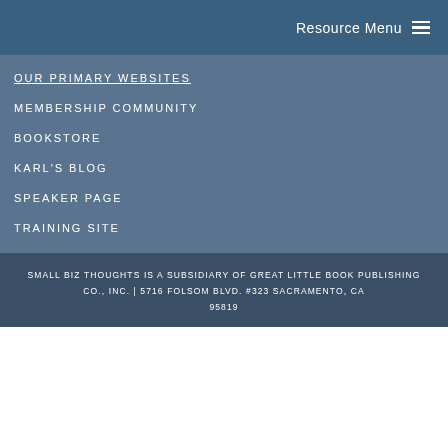Resource Menu
OUR PRIMARY WEBSITES
MEMBERSHIP COMMUNITY
BOOKSTORE
KARL'S BLOG
SPEAKER PAGE
TRAINING SITE
SMALL BIZ THOUGHTS IS A SUBSIDIARY OF GREAT LITTLE BOOK PUBLISHING CO., INC. | 5716 FOLSOM BLVD. #323 SACRAMENTO, CA 95819